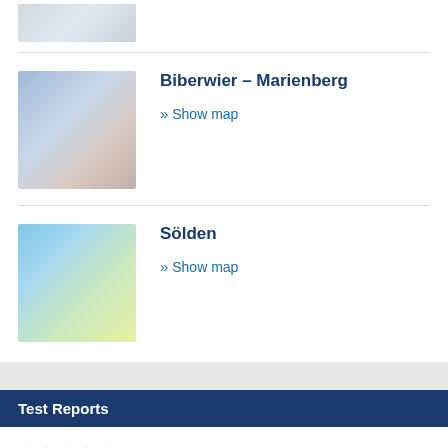[Figure (photo): Partial ski resort aerial/map photo at top of page]
[Figure (map): Biberwier – Marienberg ski trail map thumbnail]
Biberwier – Marienberg
» Show map
[Figure (map): Sölden ski trail map thumbnail]
Sölden
» Show map
Test Reports
★★★★☆ Spieljoch – Fügen
Top ski resort in the Austrian Alps
★★★★★  Families and children